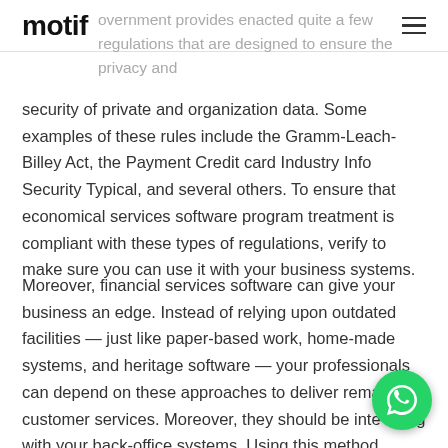motif
overnment provides enacted quite a few regulations that are designed to ensure the privacy and security of private and organization data. Some examples of these rules include the Gramm-Leach-Billey Act, the Payment Credit card Industry Info Security Typical, and several others. To ensure that economical services software program treatment is compliant with these types of regulations, verify to make sure you can use it with your business systems.
Moreover, financial services software can give your business an edge. Instead of relying upon outdated facilities — just like paper-based work, home-made systems, and heritage software — your professionals can depend on these approaches to deliver remarkable customer services. Moreover, they should be integrated along with your back-office systems. Using this method,